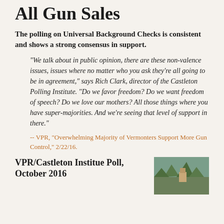All Gun Sales
The polling on Universal Background Checks is consistent and shows a strong consensus in support.
“We talk about in public opinion, there are these non-valence issues, issues where no matter who you ask they’re all going to be in agreement,” says Rich Clark, director of the Castleton Polling Institute. “Do we favor freedom? Do we want freedom of speech? Do we love our mothers? All those things where you have super-majorities. And we’re seeing that level of support in there.”
-- VPR, “Overwhelming Majority of Vermonters Support More Gun Control,” 2/22/16.
VPR/Castleton Institue Poll, October 2016
[Figure (photo): Outdoor photo partially visible at bottom right, showing trees or foliage]